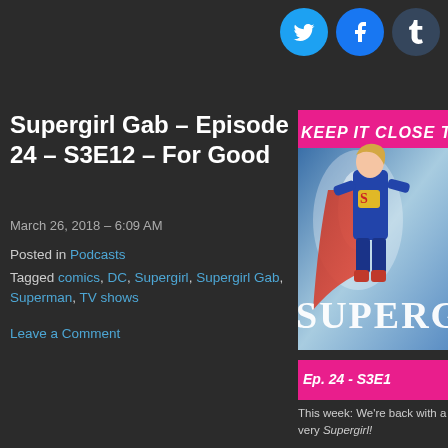[Figure (infographic): Social media share buttons: Twitter (blue), Facebook (blue), Tumblr (dark), Pinterest (red) — circular icon buttons]
Supergirl Gab – Episode 24 – S3E12 – For Good
March 26, 2018 – 6:09 AM
Posted in Podcasts
Tagged comics, DC, Supergirl, Supergirl Gab, Superman, TV shows
Leave a Comment
[Figure (photo): Supergirl podcast cover image with text 'KEEP IT CLOSE TO M' at top on pink background, Supergirl character in blue suit flying, 'SUPERG' large white text, 'Ep. 24 - S3E1' at bottom on pink bar]
This week: We're back with a very Supergirl!